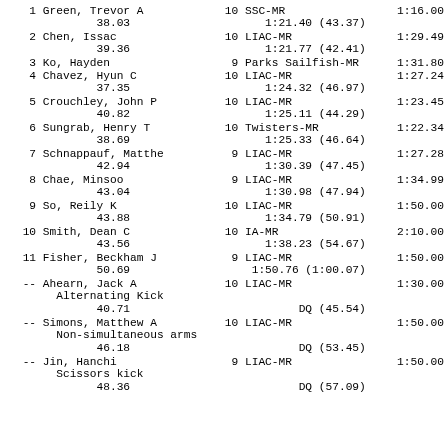| Place | Name | Age | Team | Finals |
| --- | --- | --- | --- | --- |
| 1 | Green, Trevor A | 10 | SSC-MR | 1:16.00 |
|  | 38.03 |  | 1:21.40 (43.37) |  |
| 2 | Chen, Issac | 10 | LIAC-MR | 1:29.49 |
|  | 39.36 |  | 1:21.77 (42.41) |  |
| 3 | Ko, Hayden | 9 | Parks Sailfish-MR | 1:31.80 |
| 4 | Chavez, Hyun C | 10 | LIAC-MR | 1:27.24 |
|  | 37.35 |  | 1:24.32 (46.97) |  |
| 5 | Crouchley, John P | 10 | LIAC-MR | 1:23.45 |
|  | 40.82 |  | 1:25.11 (44.29) |  |
| 6 | Sungrab, Henry T | 10 | Twisters-MR | 1:22.34 |
|  | 38.69 |  | 1:25.33 (46.64) |  |
| 7 | Schnappauf, Matthe | 9 | LIAC-MR | 1:27.28 |
|  | 42.94 |  | 1:30.39 (47.45) |  |
| 8 | Chae, Minsoo | 9 | LIAC-MR | 1:34.99 |
|  | 43.04 |  | 1:30.98 (47.94) |  |
| 9 | So, Reily K | 10 | LIAC-MR | 1:50.00 |
|  | 43.88 |  | 1:34.79 (50.91) |  |
| 10 | Smith, Dean C | 10 | IA-MR | 2:10.00 |
|  | 43.56 |  | 1:38.23 (54.67) |  |
| 11 | Fisher, Beckham J | 9 | LIAC-MR | 1:50.00 |
|  | 50.69 |  | 1:50.76 (1:00.07) |  |
| -- | Ahearn, Jack A | 10 | LIAC-MR | 1:30.00 |
|  | Alternating Kick |  |  |  |
|  | 40.71 |  | DQ (45.54) |  |
| -- | Simons, Matthew A | 10 | LIAC-MR | 1:50.00 |
|  | Non-simultaneous arms |  |  |  |
|  | 46.18 |  | DQ (53.45) |  |
| -- | Jin, Hanchi | 9 | LIAC-MR | 1:50.00 |
|  | Scissors kick |  |  |  |
|  | 48.36 |  | DQ (57.09) |  |